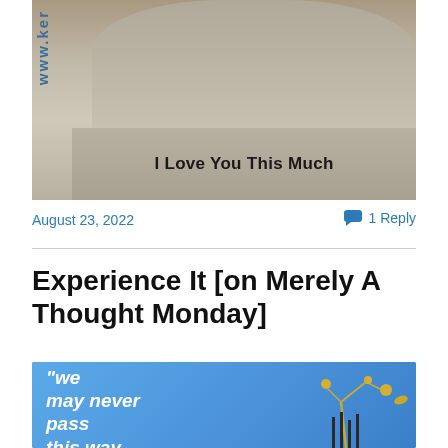[Figure (photo): A pewter/silver figurine on a rectangular base with text 'I Love You This Much' engraved. The URL 'www.ker' is partially visible on the left side.]
August 23, 2022
1 Reply
Experience It [on Merely A Thought Monday]
[Figure (photo): Blue background image with white bold italic text reading: "we may never pass this way" alongside a gold metallic floral/botanical sculpture.]